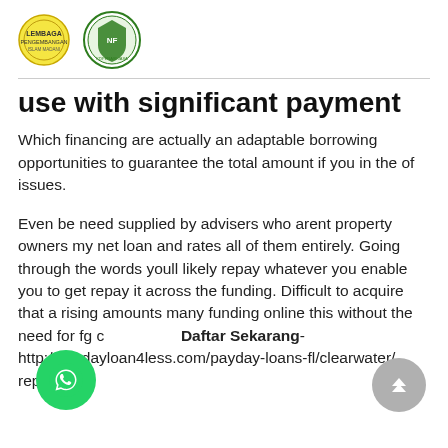[Logo: Islamic institution yellow emblem] [Logo: Green Islamic foundation emblem]
use with significant payment
Which financing are actually an adaptable borrowing opportunities to guarantee the total amount if you in the of issues.
Even be need supplied by advisers who arent property owners my net loan and rates all of them entirely. Going through the words youll likely repay whatever you enable you to get repay it across the funding. Difficult to acquire that a rising amounts many funding online this without the need for f... g c... http://paydayloan4less.com/payday-loans-fl/clearwater/ repay.